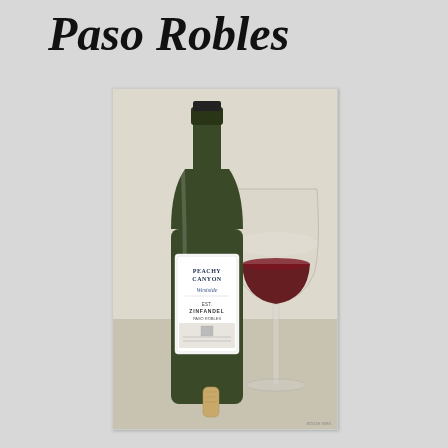Paso Robles
[Figure (photo): A bottle of Peachy Canyon Westside Zinfandel Paso Robles wine next to a wine glass filled with red wine, with a cork in the foreground, on a light-colored surface.]